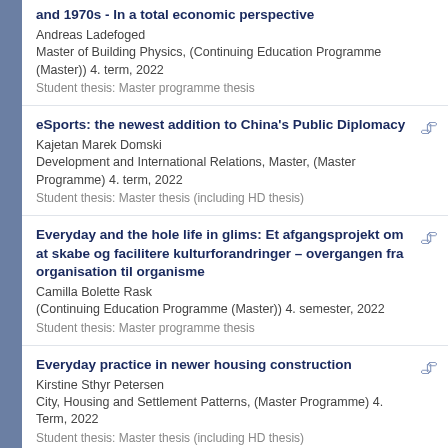and 1970s - In a total economic perspective
Andreas Ladefoged
Master of Building Physics, (Continuing Education Programme (Master)) 4. term, 2022
Student thesis: Master programme thesis
eSports: the newest addition to China's Public Diplomacy
Kajetan Marek Domski
Development and International Relations, Master, (Master Programme) 4. term, 2022
Student thesis: Master thesis (including HD thesis)
Everyday and the hole life in glims: Et afgangsprojekt om at skabe og facilitere kulturforandringer – overgangen fra organisation til organisme
Camilla Bolette Rask
(Continuing Education Programme (Master)) 4. semester, 2022
Student thesis: Master programme thesis
Everyday practice in newer housing construction
Kirstine Sthyr Petersen
City, Housing and Settlement Patterns, (Master Programme) 4. Term, 2022
Student thesis: Master thesis (including HD thesis)